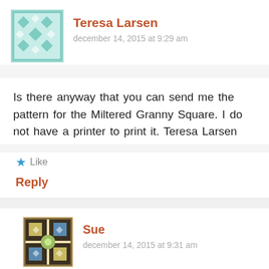[Figure (illustration): Teal geometric quilt-pattern avatar for Teresa Larsen]
Teresa Larsen
december 14, 2015 at 9:29 am
Is there anyway that you can send me the pattern for the Miltered Granny Square. I do not have a printer to print it. Teresa Larsen
Like
Reply
[Figure (illustration): Colorful quilt-pattern avatar for Sue]
Sue
december 14, 2015 at 9:31 am
Advertisements
[Figure (photo): Seamless food delivery advertisement banner with pizza photo, red Seamless logo, and ORDER NOW button]